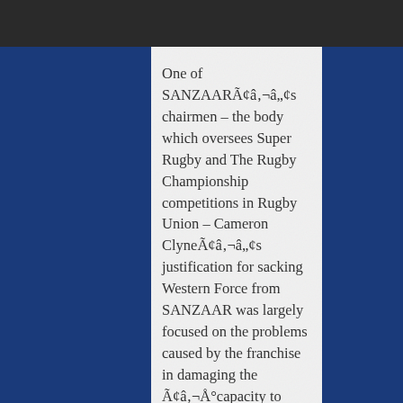One of SANZAARÃ¢â‚¬â„¢s chairmen – the body which oversees Super Rugby and The Rugby Championship competitions in Rugby Union – Cameron ClyneÃ¢â‚¬â„¢s justification for sacking Western Force from SANZAAR was largely focused on the problems caused by the franchise in damaging the Ã¢â‚¬Å"capacity to invest in community rugby.Ã¢â‚¬ÂÃ‚Â
It should be noted that Rugby Australia only puts 3.6% of its revenue in the funding of community rugby in the nation.